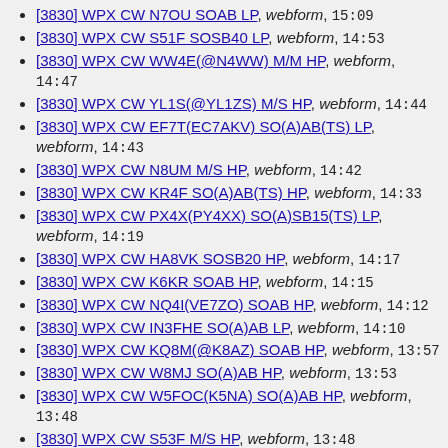[3830] WPX CW N7OU SOAB LP, webform, 15:09
[3830] WPX CW S51F SOSB40 LP, webform, 14:53
[3830] WPX CW WW4E(@N4WW) M/M HP, webform, 14:47
[3830] WPX CW YL1S(@YL1ZS) M/S HP, webform, 14:44
[3830] WPX CW EF7T(EC7AKV) SO(A)AB(TS) LP, webform, 14:43
[3830] WPX CW N8UM M/S HP, webform, 14:42
[3830] WPX CW KR4F SO(A)AB(TS) HP, webform, 14:33
[3830] WPX CW PX4X(PY4XX) SO(A)SB15(TS) LP, webform, 14:19
[3830] WPX CW HA8VK SOSB20 HP, webform, 14:17
[3830] WPX CW K6KR SOAB HP, webform, 14:15
[3830] WPX CW NQ4I(VE7ZO) SOAB HP, webform, 14:12
[3830] WPX CW IN3FHE SO(A)AB LP, webform, 14:10
[3830] WPX CW KQ8M(@K8AZ) SOAB HP, webform, 13:57
[3830] WPX CW W8MJ SO(A)AB HP, webform, 13:53
[3830] WPX CW W5FOC(K5NA) SO(A)AB HP, webform, 13:48
[3830] WPX CW S53F M/S HP, webform, 13:48
[3830] WPX CW K7ZZ SOAB HP, webform, 13:42